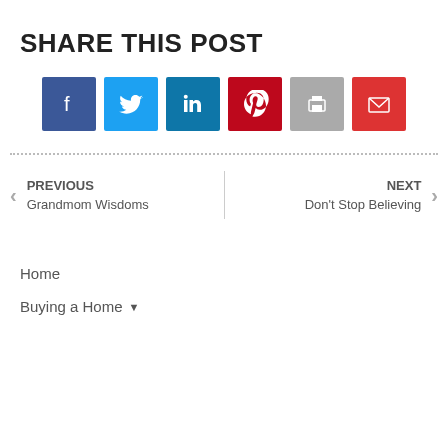SHARE THIS POST
[Figure (infographic): Six social share buttons: Facebook (dark blue), Twitter (light blue), LinkedIn (blue), Pinterest (red), Print (gray), Email (red)]
PREVIOUS
Grandmom Wisdoms
NEXT
Don't Stop Believing
Home
Buying a Home